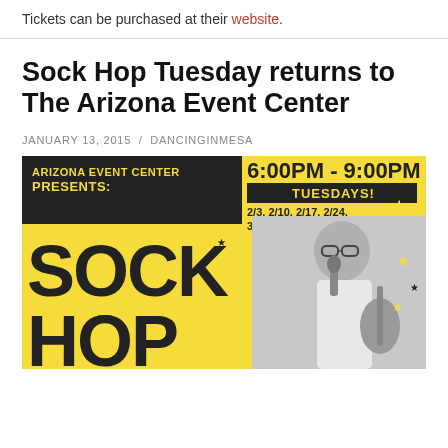Tickets can be purchased at their website.
Sock Hop Tuesday returns to The Arizona Event Center
JANUARY 13, 2015 / DANCINGINMESA
[Figure (photo): Event poster for Arizona Event Center Presents: Sock Hop, Tuesdays 6:00PM - 9:00PM, dates 2/3, 2/10, 2/17, 2/24, 3/3 and 3/10, with a man in glasses holding a guitar near a microphone.]